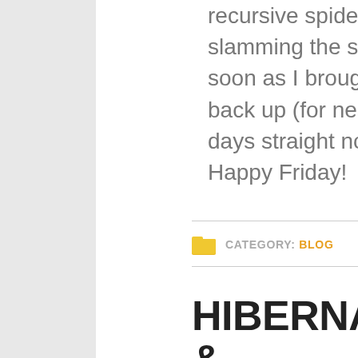recursive spider to keep slamming the site as soon as I brought it back up (for nearly 2 days straight now). Happy Friday!
CATEGORY: BLOG
HIBERNATE & COLDFUSION & WHAT